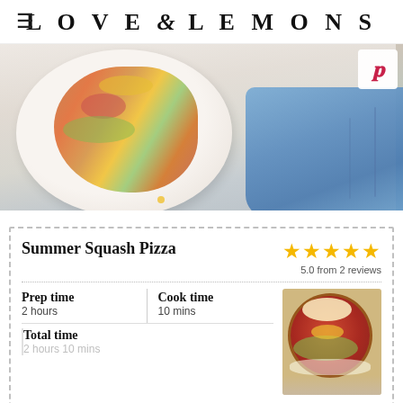LOVE & LEMONS
[Figure (photo): Overhead photo of a white plate with summer squash pizza and colorful toppings on a marble surface, with a blue denim cloth to the right. A Pinterest share button is in the top right corner.]
Summer Squash Pizza
5.0 from 2 reviews
| Prep time | Cook time |
| --- | --- |
| 2 hours | 10 mins |
Total time
2 hours 10 mins
Author: Jeanine Donofrio